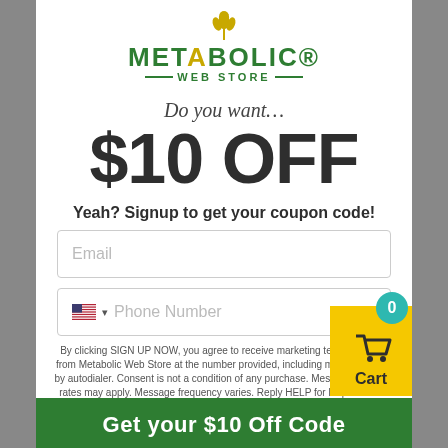[Figure (logo): Metabolic Web Store logo with wheat icon and green text]
Do you want…
$10 OFF
Yeah? Signup to get your coupon code!
Email
Phone Number
By clicking SIGN UP NOW, you agree to receive marketing text messages from Metabolic Web Store at the number provided, including messages sent by autodialer. Consent is not a condition of any purchase. Message and data rates may apply. Message frequency varies. Reply HELP for help or STOP to cancel. View our Privacy Policy and Terms of Use.
Get your $10 Off Code